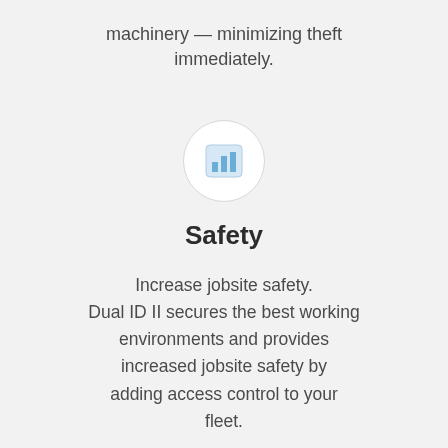machinery — minimizing theft immediately.
[Figure (illustration): A circular icon with a light blue bar chart graphic inside, set on a light grey background]
Safety
Increase jobsite safety. Dual ID II secures the best working environments and provides increased jobsite safety by adding access control to your fleet.